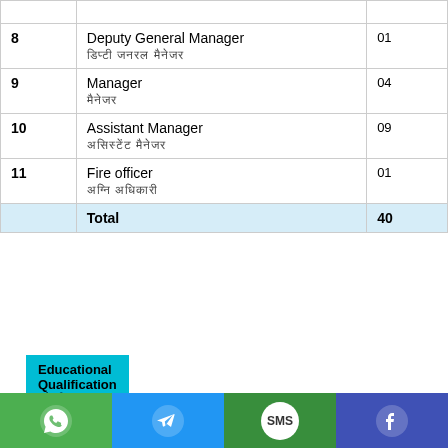| Sr. No. | Post | Vacancies |
| --- | --- | --- |
| 8 | Deputy General Manager
[Hindi text] | 01 |
| 9 | Manager
[Hindi text] | 04 |
| 10 | Assistant Manager
[Hindi text] | 09 |
| 11 | Fire officer
[Hindi text] | 01 |
|  | Total | 40 |
Educational Qualification ([Hindi text]) :